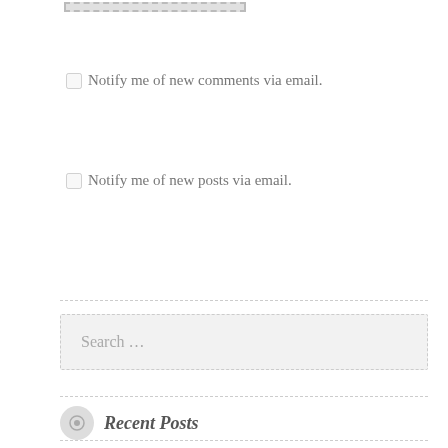[Figure (other): Small dashed-border rectangle at the top, resembling a cropped UI element or button placeholder]
Notify me of new comments via email.
Notify me of new posts via email.
Search ...
Recent Posts
Wang Family Kitchen June 18, 2022
A Note on Brainstorming March 29, 2022
My First Lithops August 21, 2021